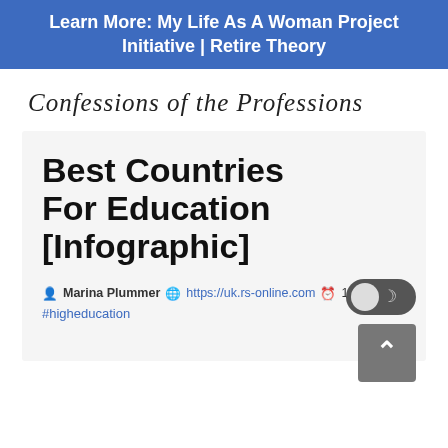Learn More: My Life As A Woman Project Initiative | Retire Theory
[Figure (logo): Confessions of the Professions script logo]
Best Countries For Education [Infographic]
Marina Plummer  https://uk.rs-online.com  1m  157  #higheducation